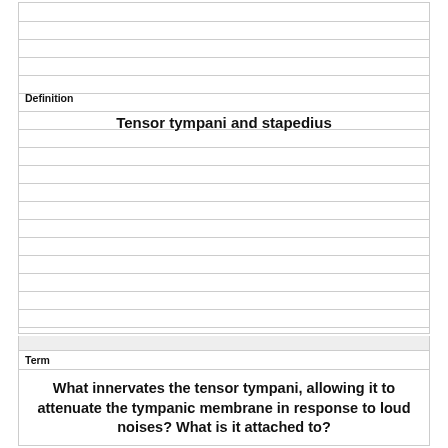Definition
Tensor tympani and stapedius
Term
What innervates the tensor tympani, allowing it to attenuate the tympanic membrane in response to loud noises? What is it attached to?